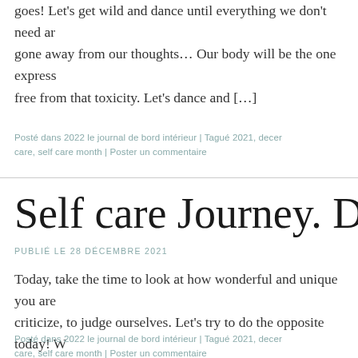goes! Let's get wild and dance until everything we don't need anymore has gone away from our thoughts… Our body will be the one express free from that toxicity. Let's dance and […]
Posté dans 2022 le journal de bord intérieur | Tagué 2021, dece care, self care month | Poster un commentaire
Self care Journey. December
PUBLIÉ LE 28 DÉCEMBRE 2021
Today, take the time to look at how wonderful and unique you are criticize, to judge ourselves. Let's try to do the opposite today! W and even more of self love. Let's be soft with ourselves, let's oper words glide on […]
Posté dans 2022 le journal de bord intérieur | Tagué 2021, dece care, self care month | Poster un commentaire